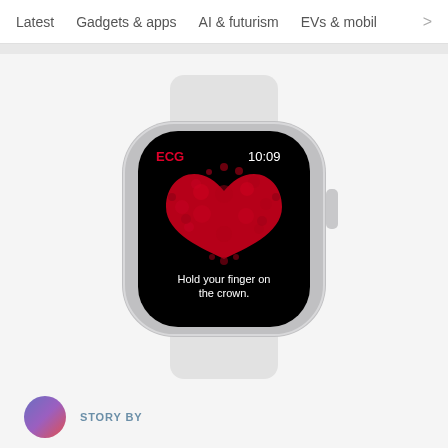Latest   Gadgets & apps   AI & futurism   EVs & mobil  >
[Figure (photo): Apple Watch with white band displaying ECG app screen showing a red heart shape and text 'Hold your finger on the crown.' with time 10:09 and ECG label in red.]
STORY BY